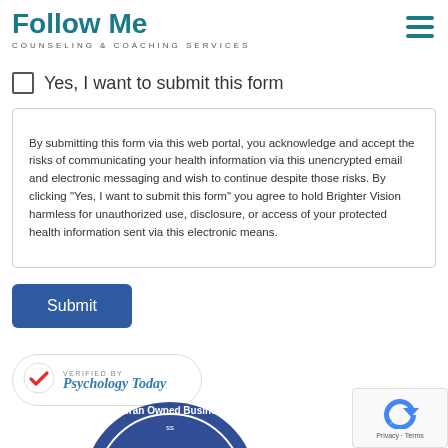Follow Me Counseling & Coaching Services
Yes, I want to submit this form
By submitting this form via this web portal, you acknowledge and accept the risks of communicating your health information via this unencrypted email and electronic messaging and wish to continue despite those risks. By clicking "Yes, I want to submit this form" you agree to hold Brighter Vision harmless for unauthorized use, disclosure, or access of your protected health information sent via this electronic means.
Submit
[Figure (logo): Verified by Psychology Today badge with checkmark]
[Figure (logo): Veteran Owned Business seal, partially visible]
[Figure (logo): reCAPTCHA widget with Privacy and Terms links]